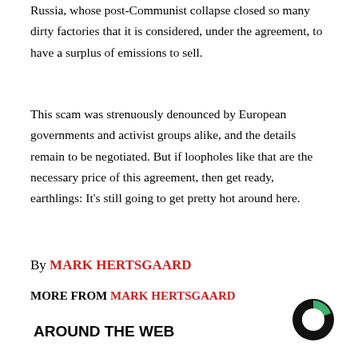Russia, whose post-Communist collapse closed so many dirty factories that it is considered, under the agreement, to have a surplus of emissions to sell.
This scam was strenuously denounced by European governments and activist groups alike, and the details remain to be negotiated. But if loopholes like that are the necessary price of this agreement, then get ready, earthlings: It's still going to get pretty hot around here.
By MARK HERTSGAARD
MORE FROM MARK HERTSGAARD
AROUND THE WEB
[Figure (logo): Circular logo with green and black segments, white interior circle]